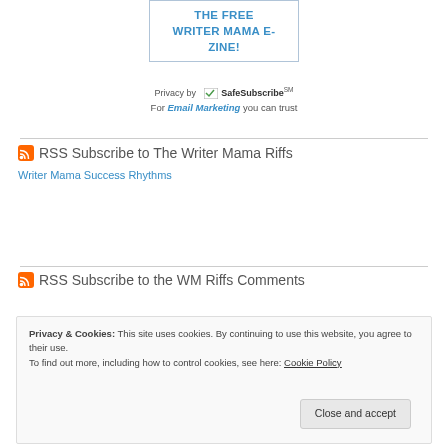[Figure (other): Subscription box with text 'THE FREE WRITER MAMA E-ZINE!']
Privacy by SafeSubscribeSM
For Email Marketing you can trust
RSS Subscribe to The Writer Mama Riffs
Writer Mama Success Rhythms
RSS Subscribe to the WM Riffs Comments
Privacy & Cookies: This site uses cookies. By continuing to use this website, you agree to their use.
To find out more, including how to control cookies, see here: Cookie Policy
Close and accept